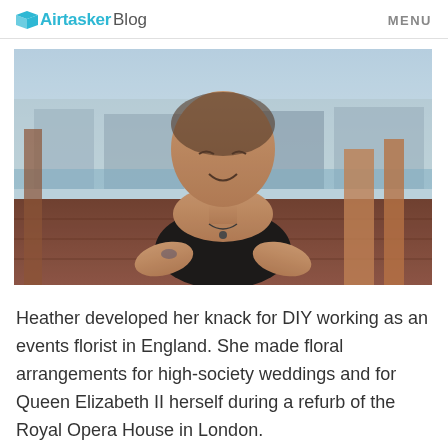Airtasker Blog   MENU
[Figure (photo): Photo of a woman (Heather) sitting at a wooden table outdoors, wearing a black sleeveless top and a necklace, smiling, with a marina or waterfront area visible in the background.]
Heather developed her knack for DIY working as an events florist in England. She made floral arrangements for high-society weddings and for Queen Elizabeth II herself during a refurb of the Royal Opera House in London.